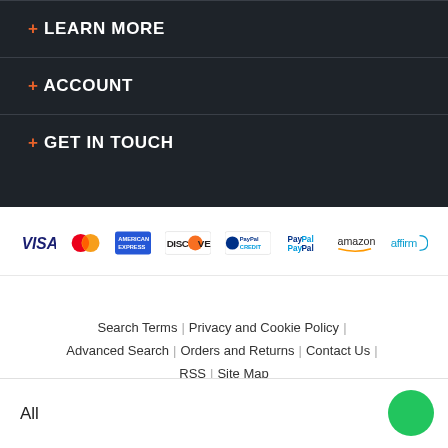+ LEARN MORE
+ ACCOUNT
+ GET IN TOUCH
[Figure (logo): Row of payment method logos: VISA, Mastercard, American Express, Discover, PayPal Credit, PayPal, Amazon, Affirm]
Search Terms | Privacy and Cookie Policy | Advanced Search | Orders and Returns | Contact Us | RSS | Site Map
Copyright © 2008-present RK Audio, Inc. All rights reserved.
All